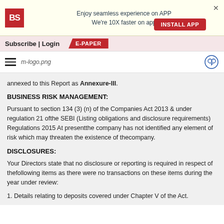[Figure (infographic): App promotion banner with BS logo, text 'Enjoy seamless experience on APP We're 10X faster on app', INSTALL APP button, and close X]
Subscribe | Login  E-PAPER
[Figure (logo): Hamburger menu icon, m-logo.png image, and user/add icon on the right]
annexed to this Report as Annexure-III.
BUSINESS RISK MANAGEMENT:
Pursuant to section 134 (3) (n) of the Companies Act 2013 & under regulation 21 ofthe SEBI (Listing obligations and disclosure requirements) Regulations 2015 At presentthe company has not identified any element of risk which may threaten the existence of thecompany.
DISCLOSURES:
Your Directors state that no disclosure or reporting is required in respect of thefollowing items as there were no transactions on these items during the year under review:
1. Details relating to deposits covered under Chapter V of the Act.